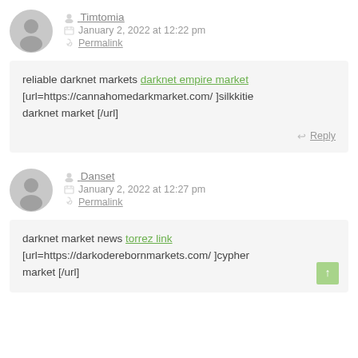Timtomia — January 2, 2022 at 12:22 pm — Permalink
reliable darknet markets darknet empire market [url=https://cannahomedarkmarket.com/ ]silkkitie darknet market [/url]
Danset — January 2, 2022 at 12:27 pm — Permalink
darknet market news torrez link [url=https://darkoderebornmarkets.com/ ]cypher market [/url]